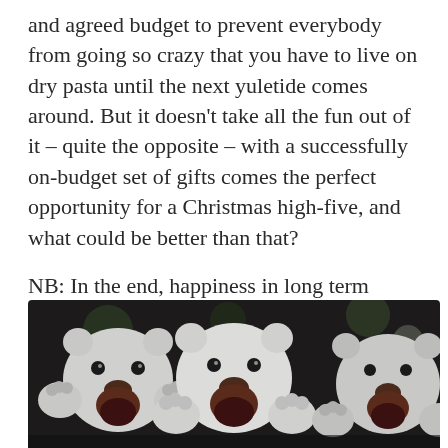and agreed budget to prevent everybody from going so crazy that you have to live on dry pasta until the next yuletide comes around. But it doesn't take all the fun out of it – quite the opposite – with a successfully on-budget set of gifts comes the perfect opportunity for a Christmas high-five, and what could be better than that?
NB: In the end, happiness in long term relationships is predominantly demonstrated through high fives. If you don't like them, I suggest you get out now.
[Figure (photo): Three white ceramic polar bear figurines with open mouths and raised paws, photographed against a dark background.]